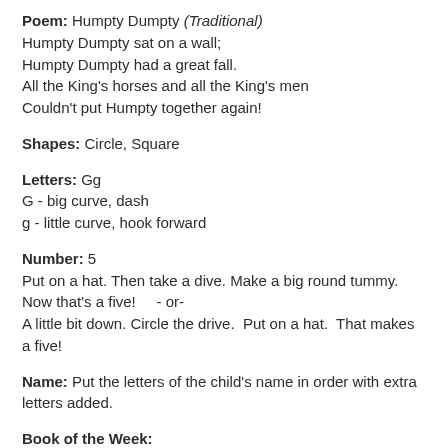Poem: Humpty Dumpty (Traditional)
Humpty Dumpty sat on a wall;
Humpty Dumpty had a great fall.
All the King's horses and all the King's men
Couldn't put Humpty together again!
Shapes: Circle, Square
Letters: Gg
G - big curve, dash
g - little curve, hook forward
Number: 5
Put on a hat. Then take a dive. Make a big round tummy. Now that's a five!   - or-
A little bit down. Circle the drive.  Put on a hat.  That makes a five!
Name: Put the letters of the child's name in order with extra letters added.
Book of the Week:
[Figure (illustration): Colorful illustrated book cover with red, green, and orange wave/zigzag pattern at the bottom of the page]